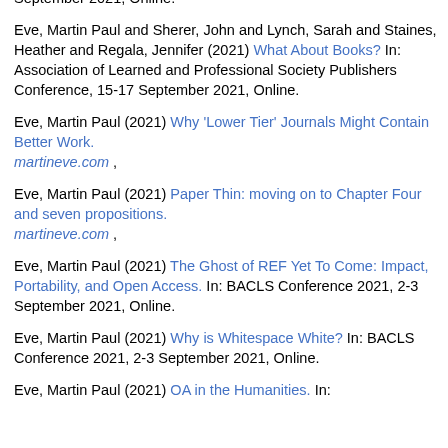September 2021, Online.
Eve, Martin Paul and Sherer, John and Lynch, Sarah and Staines, Heather and Regala, Jennifer (2021) What About Books? In: Association of Learned and Professional Society Publishers Conference, 15-17 September 2021, Online.
Eve, Martin Paul (2021) Why 'Lower Tier' Journals Might Contain Better Work. martineve.com ,
Eve, Martin Paul (2021) Paper Thin: moving on to Chapter Four and seven propositions. martineve.com ,
Eve, Martin Paul (2021) The Ghost of REF Yet To Come: Impact, Portability, and Open Access. In: BACLS Conference 2021, 2-3 September 2021, Online.
Eve, Martin Paul (2021) Why is Whitespace White? In: BACLS Conference 2021, 2-3 September 2021, Online.
Eve, Martin Paul (2021) OA in the Humanities. In: